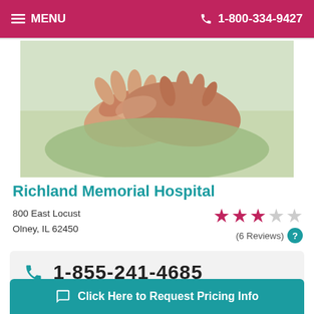MENU  1-800-334-9427
[Figure (photo): Two people holding hands, one younger and one older, resting on a green pillow — depicting caring or nursing home assistance.]
Richland Memorial Hospital
800 East Locust
Olney, IL 62450
★★★☆☆ (6 Reviews)
1-855-241-4685
Richland Memorial Hospital is a 14 bed nursing care facility...
Click Here to Request Pricing Info